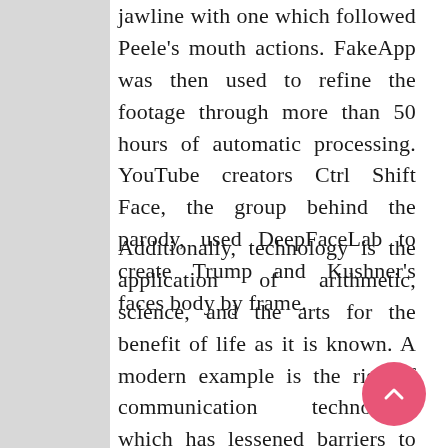jawline with one which followed Peele's mouth actions. FakeApp was then used to refine the footage through more than 50 hours of automatic processing. YouTube creators Ctrl Shift Face, the group behind the parody, used DeepFaceLab to create Trump and Kushner's faces body by frame.
Additionally, technology is the application of arithmetic, science, and the arts for the benefit of life as it is known. A modern example is the rise of communication technology, which has lessened barriers to human interplay and consequently has helped spawn new subcultures; the rise of cyberculture has at its basis the development of the Internet and the Technology pc. It has helped develop extra superior economies (including right now's world economy) and has allowed the rise of a leisure class. Many technological processes produce